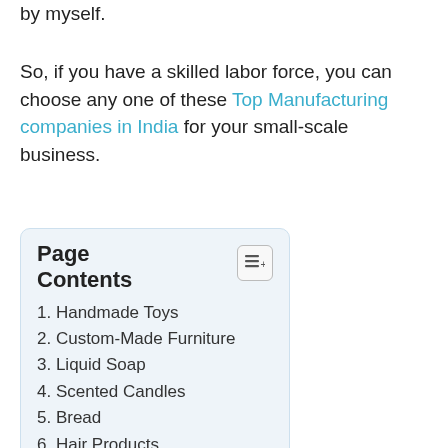by myself.
So, if you have a skilled labor force, you can choose any one of these Top Manufacturing companies in India for your small-scale business.
[Figure (other): Page Contents table of contents box with numbered list items: 1. Handmade Toys, 2. Custom-Made Furniture, 3. Liquid Soap, 4. Scented Candles, 5. Bread, 6. Hair Products, 7. Ma... (cut off)]